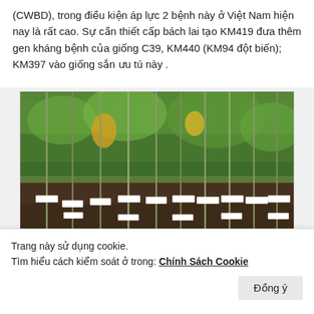(CWBD), trong điều kiện áp lực 2 bệnh này ở Việt Nam hiện nay là rất cao. Sự cần thiết cấp bách lai tạo KM419 đưa thêm gen kháng bệnh của giống C39, KM440 (KM94 đột biến); KM397 vào giống sắn ưu tú này .
[Figure (photo): Photograph of cassava plants (KM419 variety) growing in a field, showing tall green stems with labeled stakes/markers inserted at the base of each plant row. The plants have palmate leaves and are planted in dark soil.]
— Giống sắn KM419 bia trái thấp cây, tán gọn, cọng đỏ,
Trang này sử dụng cookie.
Tìm hiểu cách kiểm soát ở trong: Chính Sách Cookie